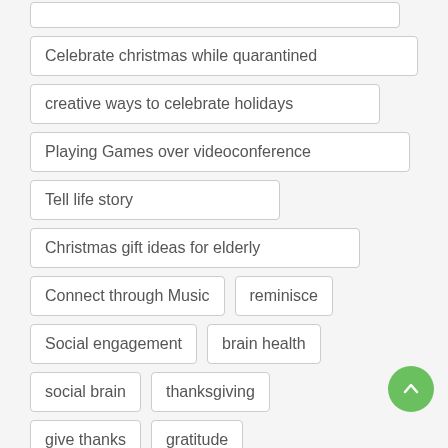Celebrate christmas while quarantined
creative ways to celebrate holidays
Playing Games over videoconference
Tell life story
Christmas gift ideas for elderly
Connect through Music
reminisce
Social engagement
brain health
social brain
thanksgiving
give thanks
gratitude
Family Caregivers
Caregivers